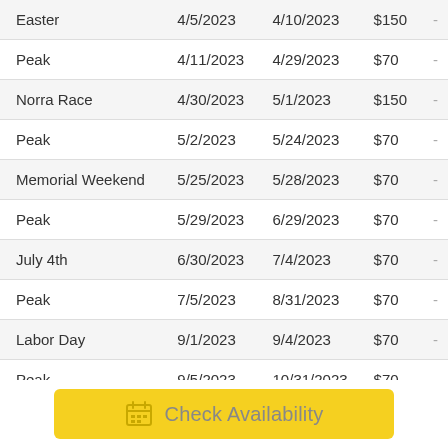| Season | Start Date | End Date | Rate |  |
| --- | --- | --- | --- | --- |
| Easter | 4/5/2023 | 4/10/2023 | $150 | - |
| Peak | 4/11/2023 | 4/29/2023 | $70 | - |
| Norra Race | 4/30/2023 | 5/1/2023 | $150 | - |
| Peak | 5/2/2023 | 5/24/2023 | $70 | - |
| Memorial Weekend | 5/25/2023 | 5/28/2023 | $70 | - |
| Peak | 5/29/2023 | 6/29/2023 | $70 | - |
| July 4th | 6/30/2023 | 7/4/2023 | $70 | - |
| Peak | 7/5/2023 | 8/31/2023 | $70 | - |
| Labor Day | 9/1/2023 | 9/4/2023 | $70 | - |
| Peak | 9/5/2023 | 10/31/2023 | $70 | - |
| Mid | 11/1/2023 | 2/29/2024 | $60 | - |
Check Availability